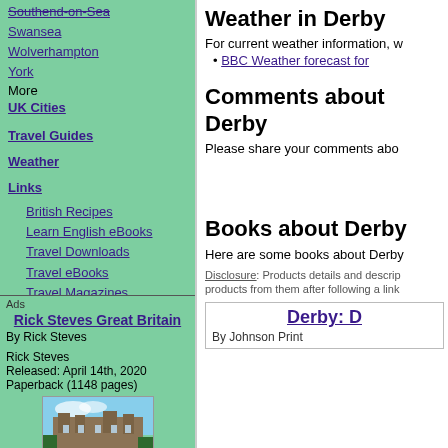Southend-on-Sea
Swansea
Wolverhampton
York
More UK Cities
Travel Guides
Weather
Links
British Recipes
Learn English eBooks
Travel Downloads
Travel eBooks
Travel Magazines
UK Country Information
UK Travel Downloads
More Links
Ads
Rick Steves Great Britain
By Rick Steves
Rick Steves
Released: April 14th, 2020
Paperback (1148 pages)
Weather in Derby
For current weather information, w
BBC Weather forecast for
Comments about Derby
Please share your comments abo
Books about Derby
Here are some books about Derby
Disclosure: Products details and descrip products from them after following a link
Derby: D
By Johnson Print